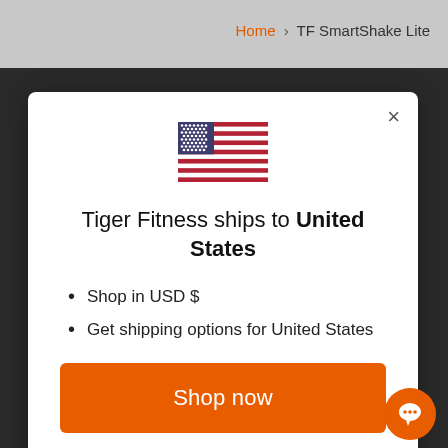Home > TF SmartShake Lite
[Figure (illustration): United States flag emoji]
Tiger Fitness ships to United States
Shop in USD $
Get shipping options for United States
Shop now
Change shipping country